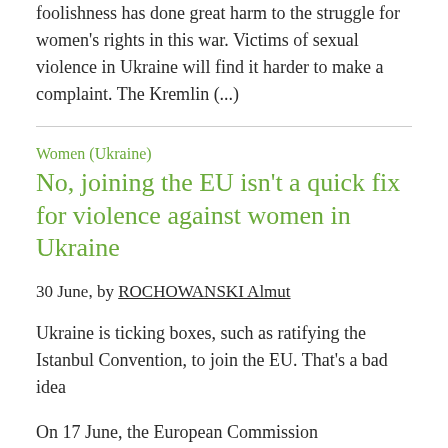foolishness has done great harm to the struggle for women's rights in this war. Victims of sexual violence in Ukraine will find it harder to make a complaint. The Kremlin (...)
Women (Ukraine)
No, joining the EU isn't a quick fix for violence against women in Ukraine
30 June, by ROCHOWANSKI Almut
Ukraine is ticking boxes, such as ratifying the Istanbul Convention, to join the EU. That's a bad idea
On 17 June, the European Commission recommended that Ukraine be granted EU candidate status as long as the country meets a substantial list of conditions. Numerous shortcomings were hinted at (...)